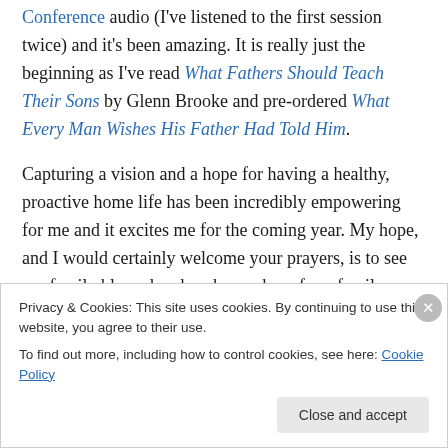Conference audio (I've listened to the first session twice) and it's been amazing. It is really just the beginning as I've read What Fathers Should Teach Their Sons by Glenn Brooke and pre-ordered What Every Man Wishes His Father Had Told Him.
Capturing a vision and a hope for having a healthy, proactive home life has been incredibly empowering for me and it excites me for the coming year. My hope, and I would certainly welcome your prayers, is to see my family blessed and each member of my family thriving in their
Privacy & Cookies: This site uses cookies. By continuing to use this website, you agree to their use.
To find out more, including how to control cookies, see here: Cookie Policy